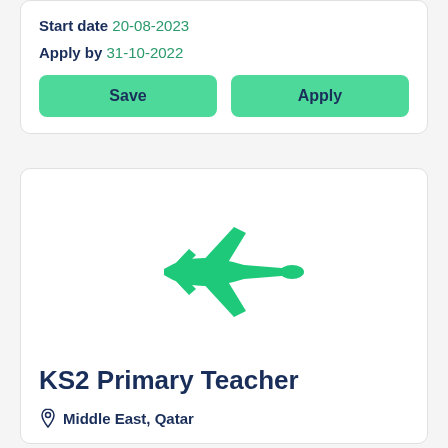Start date 20-08-2023
Apply by 31-10-2022
Save
Apply
[Figure (illustration): Green airplane icon pointing right]
KS2 Primary Teacher
Middle East, Qatar